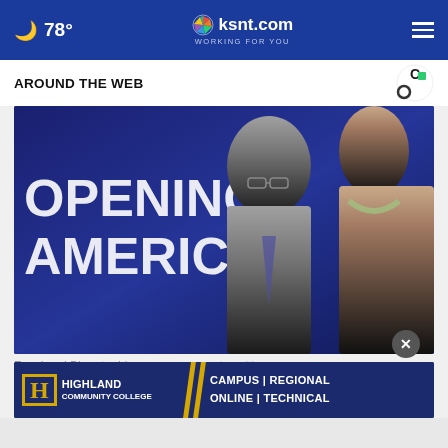🌙 78° ksnt.com WORKING FOR YOU ☰
AROUND THE WEB
[Figure (photo): Two people standing in front of a dark blue backdrop with text reading 'OPENING AMERICA'. A man in glasses and a woman are visible.]
Fauci and Birx at odds over an encounter with Pen…
[Figure (other): Highland Community College advertisement banner: CAMPUS | REGIONAL ONLINE | TECHNICAL]